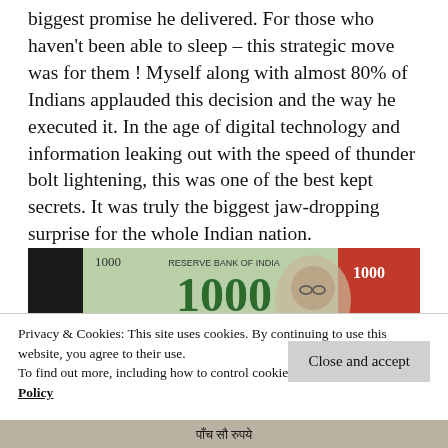biggest promise he delivered. For those who haven't been able to sleep – this strategic move was for them ! Myself along with almost 80% of Indians applauded this decision and the way he executed it. In the age of digital technology and information leaking out with the speed of thunder bolt lightening, this was one of the best kept secrets. It was truly the biggest jaw-dropping surprise for the whole Indian nation.
[Figure (photo): Indian 1000 rupee banknote showing the denomination '1000' in large numerals and Hindi text 'एक हज़ार रुपये', with Gandhi's portrait on the right side.]
Privacy & Cookies: This site uses cookies. By continuing to use this website, you agree to their use.
To find out more, including how to control cookies, see here: Cookie Policy
[Figure (photo): Partial view of Indian currency notes at the bottom of the page showing Hindi text 'पाँच सौ रुपये'.]